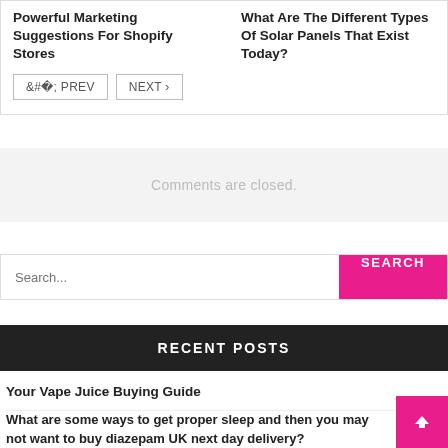Powerful Marketing Suggestions For Shopify Stores
What Are The Different Types Of Solar Panels That Exist Today?
< PREV
NEXT >
Comments are closed.
Search...
SEARCH
RECENT POSTS
Your Vape Juice Buying Guide
What are some ways to get proper sleep and then you may not want to buy diazepam UK next day delivery?
Powerful Marketing Suggestions for Shopify Stores